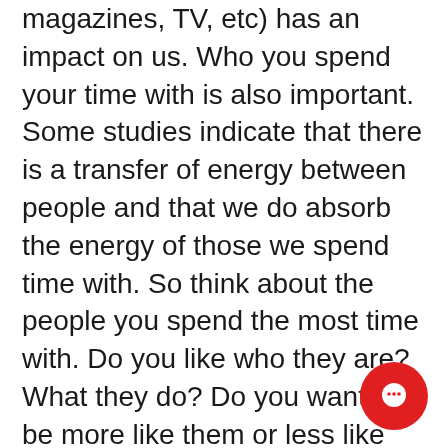magazines, TV, etc) has an impact on us. Who you spend your time with is also important. Some studies indicate that there is a transfer of energy between people and that we do absorb the energy of those we spend time with. So think about the people you spend the most time with. Do you like who they are? What they do? Do you want to be more like them or less like them? Do they inspire you or drag you down? Do they make you feel happy and positive or sad and negative?
The people you spend time with impact your energy and your mental state. Find people who inspire you. People who are doing what you want to be doing or have the personality traits you want to have, and spend more time with